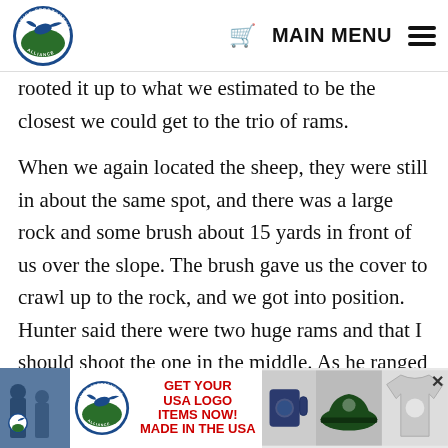Union Sportsmen's Alliance — MAIN MENU
rooted it up to what we estimated to be the closest we could get to the trio of rams.

When we again located the sheep, they were still in about the same spot, and there was a large rock and some brush about 15 yards in front of us over the slope. The brush gave us the cover to crawl up to the rock, and we got into position. Hunter said there were two huge rams and that I should shoot the one in the middle. As he ranged the sheep at 204 yards, I prepared for the shot. The morning sun was straight in my face and scope, and I had a tough time with the
[Figure (infographic): Advertisement banner: Union Sportsmen's Alliance GET YOUR USA LOGO ITEMS NOW! MADE IN THE USA with mug, hat and t-shirt photos]